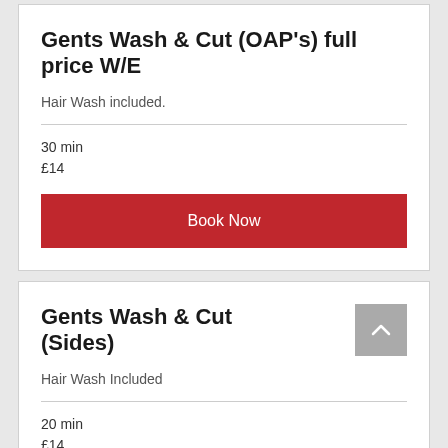Gents Wash & Cut (OAP's) full price W/E
Hair Wash included.
30 min
£14
Book Now
Gents Wash & Cut (Sides)
Hair Wash Included
20 min
£14